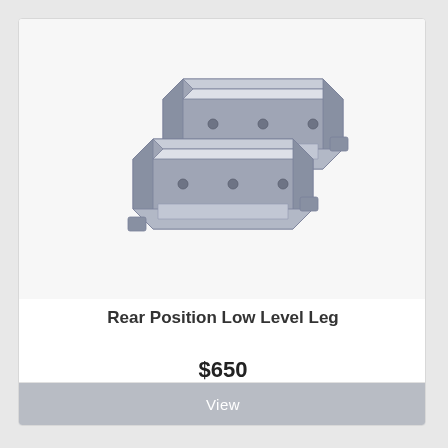[Figure (illustration): Two grey metallic rear position low level leg brackets shown in a 3D CAD-style isometric illustration, side by side, with mounting tabs and screw holes visible.]
Rear Position Low Level Leg
$650
View